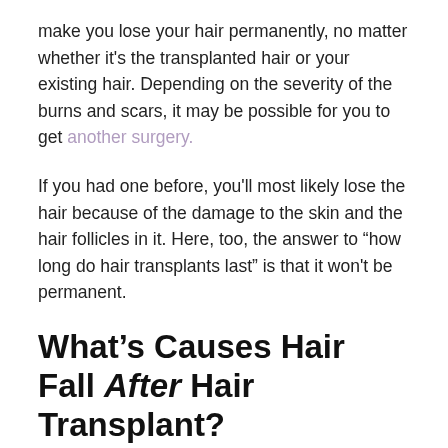make you lose your hair permanently, no matter whether it's the transplanted hair or your existing hair. Depending on the severity of the burns and scars, it may be possible for you to get another surgery.
If you had one before, you'll most likely lose the hair because of the damage to the skin and the hair follicles in it. Here, too, the answer to “how long do hair transplants last” is that it won't be permanent.
What’s Causes Hair Fall After Hair Transplant?
Other than the above-known questions about